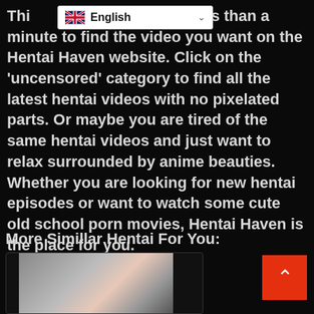[Figure (screenshot): Language selector dropdown showing UK flag and 'English' text with chevron]
This will take you less than a minute to find the video you want on the Hentai Haven website. Click on the 'uncensored' category to find all the latest hentai videos with no pixelated parts. Or maybe you are tired of the same hentai videos and just want to relax surrounded by anime beauties. Whether you are looking for new hentai episodes or want to watch some cute old school porn movies, Hentai Haven is the place for you.
More Simillar Hentai For You:
[Figure (photo): Thumbnail image of anime-style content in a card]
[Figure (other): Red back-to-top button with upward arrow chevron]